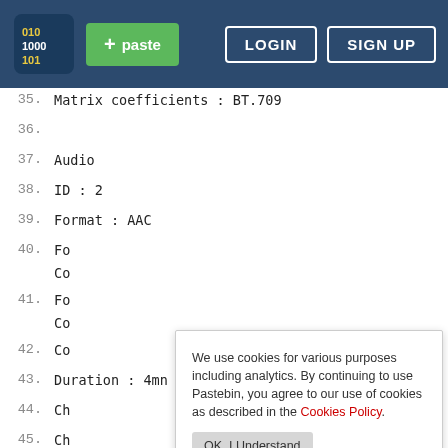[Figure (screenshot): Pastebin website navigation bar with logo, + paste button, LOGIN and SIGN UP buttons on dark blue background]
35.  Matrix coefficients                               : BT.709
36.
37.  Audio
38.  ID                                                 : 2
39.  Format                                             : AAC
40.  Fo
     Co
41.  Fo
     Co
42.  Co
43.  Duration                                           : 4mn 0s
44.  Ch
45.  Ch
46.  Sampling rate                                      : 44.1 KHz
47.  Compression mode                                   : Lossy
48.  Default                                            : Yes
49.  Forced                                             : No
50.
We use cookies for various purposes including analytics. By continuing to use Pastebin, you agree to our use of cookies as described in the Cookies Policy.  OK, I Understand
Not a member of Pastebin yet? Sign Up, it unlocks many cool features!